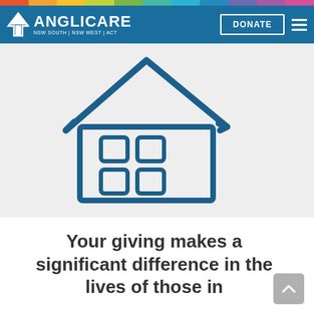Anglicare NSW South | NSW West | ACT — DONATE
[Figure (illustration): Hand-drawn style illustration of a house in dark blue outline on a light grey background]
Your giving makes a significant difference in the lives of those in